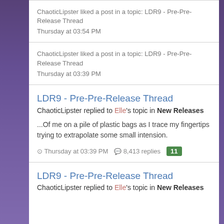ChaoticLipster liked a post in a topic: LDR9 - Pre-Pre-Release Thread
Thursday at 03:54 PM
ChaoticLipster liked a post in a topic: LDR9 - Pre-Pre-Release Thread
Thursday at 03:39 PM
LDR9 - Pre-Pre-Release Thread
ChaoticLipster replied to Elle's topic in New Releases
...Of me on a pile of plastic bags as I trace my fingertips trying to extrapolate some small intension.
Thursday at 03:39 PM   8,413 replies   11
LDR9 - Pre-Pre-Release Thread
ChaoticLipster replied to Elle's topic in New Releases